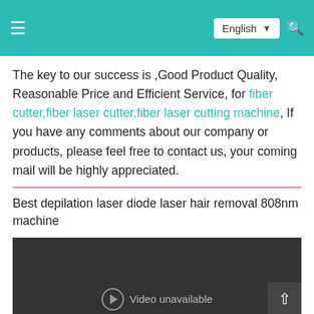≡  English ▾  🔍
The key to our success is ,Good Product Quality, Reasonable Price and Efficient Service, for fiber cutter,fiber laser cutter,fiber laser cutting machine, If you have any comments about our company or products, please feel free to contact us, your coming mail will be highly appreciated.
Best depilation laser diode laser hair removal 808nm machine
[Figure (other): Video player placeholder showing 'Video unavailable' message on a dark background]